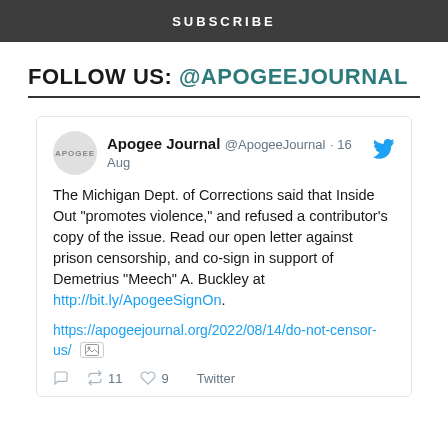SUBSCRIBE
FOLLOW US: @APOGEEJOURNAL
[Figure (screenshot): Embedded tweet from @ApogeeJournal dated 16 Aug. Tweet text: The Michigan Dept. of Corrections said that Inside Out "promotes violence," and refused a contributor's copy of the issue. Read our open letter against prison censorship, and co-sign in support of Demetrius “Meech” A. Buckley at http://bit.ly/ApogeeSignOn. URL: https://apogeejournal.org/2022/08/14/do-not-censor-us/ with image icon. Engagement: 11 retweets, 9 likes. Source: Twitter.]